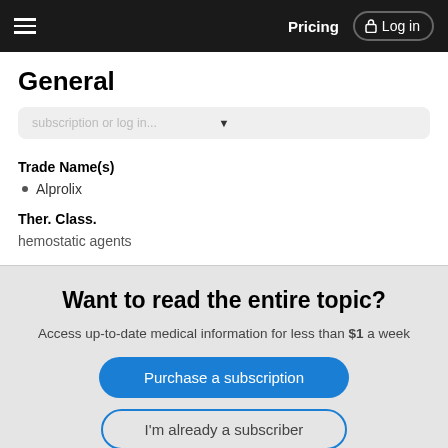Pricing  Log in
General
subscription or log in...
Trade Name(s)
Alprolix
Ther. Class.
hemostatic agents
Want to read the entire topic?
Access up-to-date medical information for less than $1 a week
Purchase a subscription
I'm already a subscriber
Browse sample topics